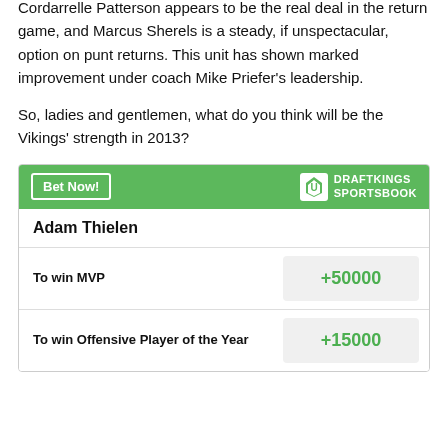Cordarrelle Patterson appears to be the real deal in the return game, and Marcus Sherels is a steady, if unspectacular, option on punt returns. This unit has shown marked improvement under coach Mike Priefer's leadership.
So, ladies and gentlemen, what do you think will be the Vikings' strength in 2013?
| Adam Thielen |  |
| --- | --- |
| To win MVP | +50000 |
| To win Offensive Player of the Year | +15000 |